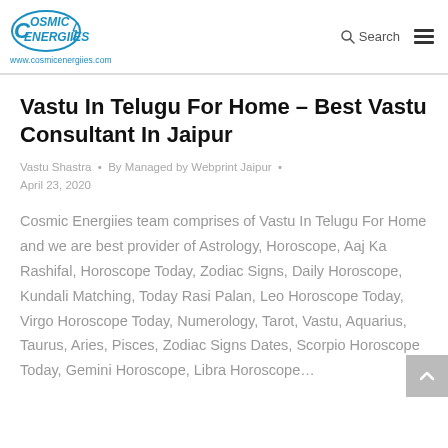Cosmic Energiies — www.cosmicenergiies.com | Search | Menu
Vastu In Telugu For Home – Best Vastu Consultant In Jaipur
Vastu Shastra • By Managed by Webprint Jaipur • April 23, 2020
Cosmic Energiies team comprises of Vastu In Telugu For Home and we are best provider of Astrology, Horoscope, Aaj Ka Rashifal, Horoscope Today, Zodiac Signs, Daily Horoscope, Kundali Matching, Today Rasi Palan, Leo Horoscope Today, Virgo Horoscope Today, Numerology, Tarot, Vastu, Aquarius, Taurus, Aries, Pisces, Zodiac Signs Dates, Scorpio Horoscope Today, Gemini Horoscope, Libra Horoscope…